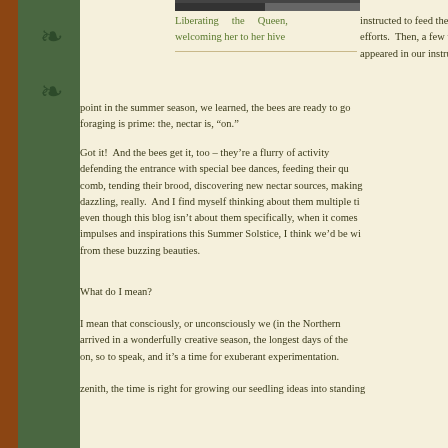[Figure (photo): Partial photo strip at top of page showing bees or hive scene]
Liberating the Queen, welcoming her to her hive
instructed to feed them sugar sy... efforts.  Then, a few weeks ago, appeared in our instructions: "Nec point in the summer season, we learned, the bees are ready to go foraging is prime: the, nectar is, "on."
Got it!  And the bees get it, too – they're a flurry of activity defending the entrance with special bee dances, feeding their qu comb, tending their brood, discovering new nectar sources, making dazzling, really.  And I find myself thinking about them multiple t even though this blog isn't about them specifically, when it comes impulses and inspirations this Summer Solstice, I think we'd be wi from these buzzing beauties.
What do I mean?
I mean that consciously, or unconsciously we (in the Northern arrived in a wonderfully creative season, the longest days of the on, so to speak, and it's a time for exuberant experimentation. zenith, the time is right for growing our seedling ideas into standing